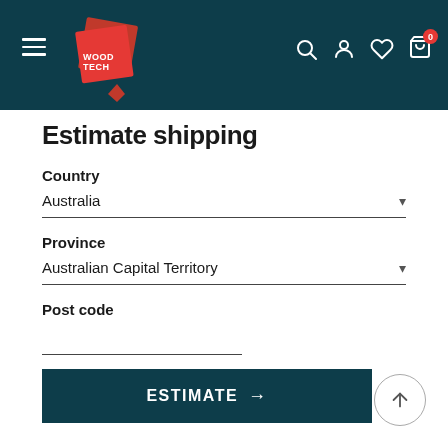WoodTech navigation bar with logo, hamburger menu, search, account, wishlist, and cart icons
Estimate shipping
Country
Australia
Province
Australian Capital Territory
Post code
ESTIMATE →